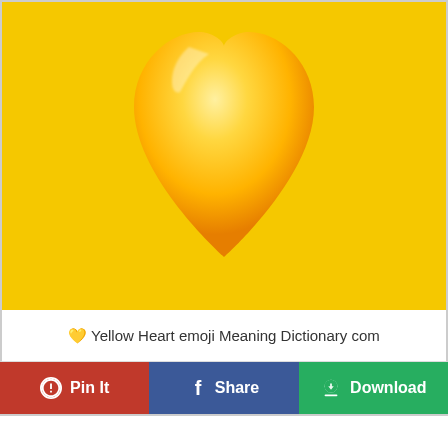[Figure (illustration): Yellow heart emoji on a golden-yellow background. The heart is rendered in a warm orange-yellow gradient with a glossy appearance, positioned in the upper center area of the image.]
💛 Yellow Heart emoji Meaning Dictionary com
Pin It
Share
Download